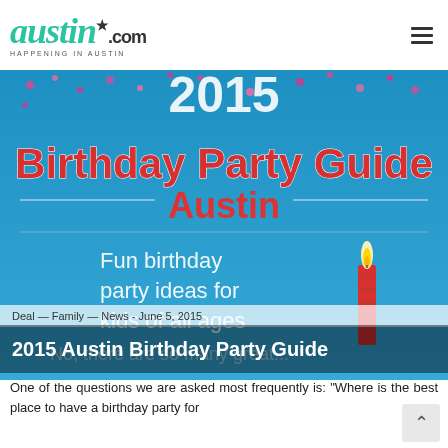Austin.com — HAPPENING IN AUSTIN
[Figure (illustration): 2015 Birthday Party Guide Austin promotional image with blue background, confetti, birthday candle, and text: 'Fun birthday party ideas for kids of all ages']
Deal — Family — News - June 5, 2015
2015 Austin Birthday Party Guide
One of the questions we are asked most frequently is: "Where is the best place to have a birthday party for